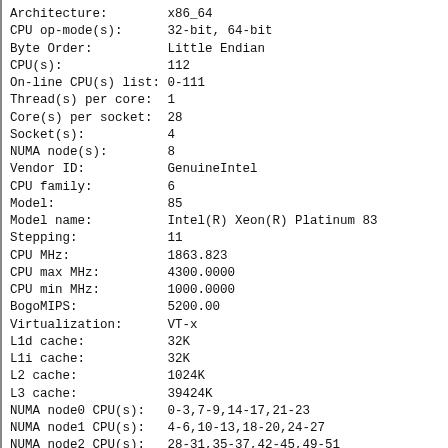Architecture:        x86_64
CPU op-mode(s):      32-bit, 64-bit
Byte Order:          Little Endian
CPU(s):              112
On-line CPU(s) list: 0-111
Thread(s) per core:  1
Core(s) per socket:  28
Socket(s):           4
NUMA node(s):        8
Vendor ID:           GenuineIntel
CPU family:          6
Model:               85
Model name:          Intel(R) Xeon(R) Platinum 83...
Stepping:            11
CPU MHz:             1863.823
CPU max MHz:         4300.0000
CPU min MHz:         1000.0000
BogoMIPS:            5200.00
Virtualization:      VT-x
L1d cache:           32K
L1i cache:           32K
L2 cache:            1024K
L3 cache:            39424K
NUMA node0 CPU(s):   0-3,7-9,14-17,21-23
NUMA node1 CPU(s):   4-6,10-13,18-20,24-27
NUMA node2 CPU(s):   28-31,35-37,42-45,49-51
NUMA node3 CPU(s):   32-34,38-41,46-48,52-55
NUMA node4 CPU(s):   56-59,63-65,70-73,77-79
NUMA node5 CPU(s):   60-62,66-69,74-76,80-83
NUMA node6 CPU(s):   84-87,91-93,98-101,105-107